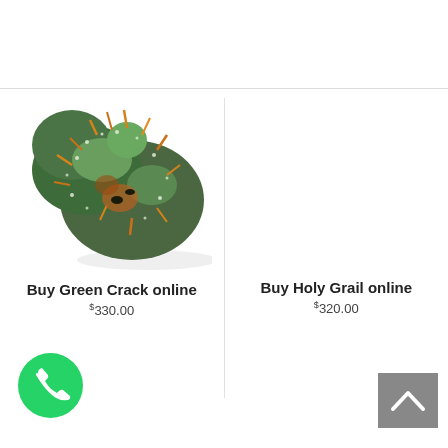[Figure (photo): Green cannabis bud with orange hairs on white background]
Buy Green Crack online
$330.00
Buy Holy Grail online
$320.00
[Figure (logo): WhatsApp green circle phone icon button]
[Figure (other): Gray scroll-to-top button with upward chevron arrow]